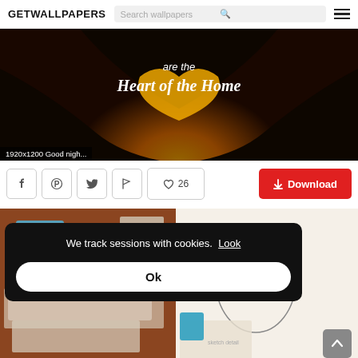GETWALLPAPERS
[Figure (screenshot): Hero wallpaper image showing silhouetted hands forming a heart shape with glowing orange sunset background, text reading 'are the Heart of the Home']
1920x1200 Good nigh...
[Figure (screenshot): Social sharing action bar with Facebook, Pinterest, Twitter, flag icons, heart/like button showing 26 likes, and a red Download button]
[Figure (screenshot): Second wallpaper thumbnail showing art supplies, paper, and a sketch of a woman's face]
We track sessions with cookies. Look
Ok